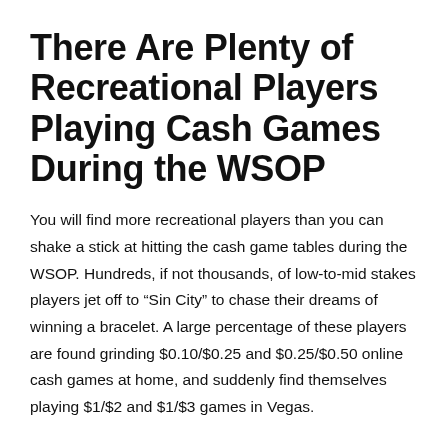There Are Plenty of Recreational Players Playing Cash Games During the WSOP
You will find more recreational players than you can shake a stick at hitting the cash game tables during the WSOP. Hundreds, if not thousands, of low-to-mid stakes players jet off to “Sin City” to chase their dreams of winning a bracelet. A large percentage of these players are found grinding $0.10/$0.25 and $0.25/$0.50 online cash games at home, and suddenly find themselves playing $1/$2 and $1/$3 games in Vegas.